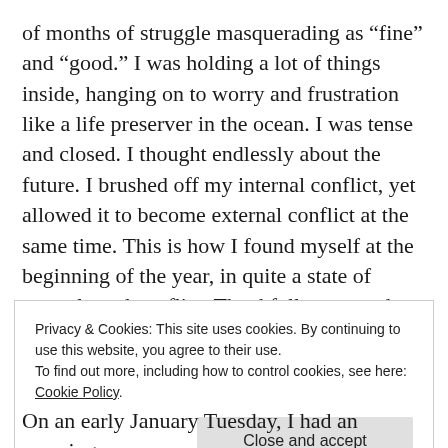of months of struggle masquerading as “fine” and “good.” I was holding a lot of things inside, hanging on to worry and frustration like a life preserver in the ocean. I was tense and closed. I thought endlessly about the future. I brushed off my internal conflict, yet allowed it to become external conflict at the same time. This is how I found myself at the beginning of the year, in quite a state of struggle and conflict. Thankfully, you and God gave me some very welcome direction.
Privacy & Cookies: This site uses cookies. By continuing to use this website, you agree to their use.
To find out more, including how to control cookies, see here: Cookie Policy
Close and accept
On an early January Tuesday, I had an amazing